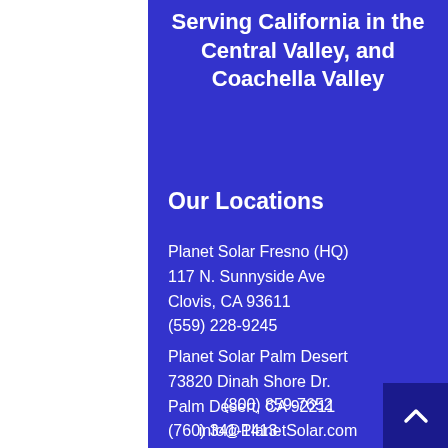Serving California in the Central Valley, and Coachella Valley
Our Locations
Planet Solar Fresno (HQ)
117 N. Sunnyside Ave
Clovis, CA 93611
(559) 228-9245
Planet Solar Palm Desert
73820 Dinah Shore Dr.
Palm Desert, CA 92211
(760) 341-1413
(800) 859-7652
info@PlanetSolar.com